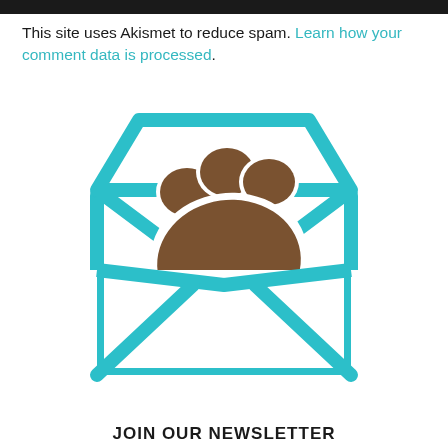This site uses Akismet to reduce spam. Learn how your comment data is processed.
[Figure (illustration): An open envelope with a dog paw print emerging from it, in teal/turquoise color scheme with brown paw print on white background.]
JOIN OUR NEWSLETTER